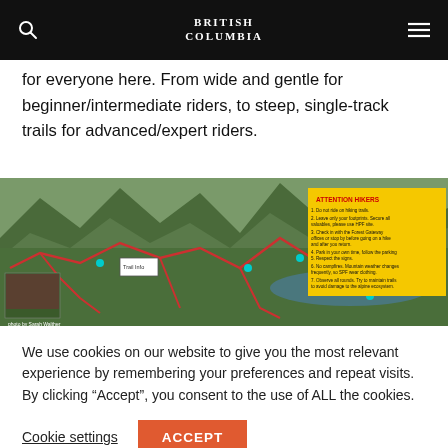BRITISH COLUMBIA
for everyone here. From wide and gentle for beginner/intermediate riders, to steep, single-track trails for advanced/expert riders.
[Figure (map): Aerial/satellite trail map of a mountain biking area in British Columbia showing trail routes marked in red on a mountainous terrain with an 'ATTENTION HIKERS' notice panel in yellow on the right side.]
We use cookies on our website to give you the most relevant experience by remembering your preferences and repeat visits. By clicking “Accept”, you consent to the use of ALL the cookies.
Cookie settings
ACCEPT